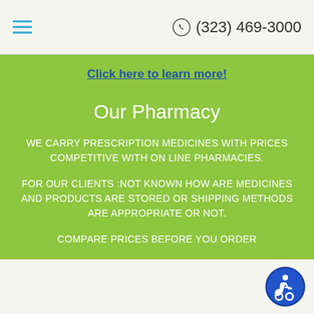(323) 469-3000
Click here to learn more!
Our Pharmacy
WE CARRY PRESCRIPTION MEDICINES WITH PRICES COMPETITIVE WITH ON LINE PHARMACIES.
FOR OUR CLIENTS :NOT KNOWN HOW ARE MEDICINES AND PRODUCTS ARE STORED OR SHIPPING METHODS ARE APPROPRIATE OR NOT.
COMPARE PRICES BEFORE YOU ORDER